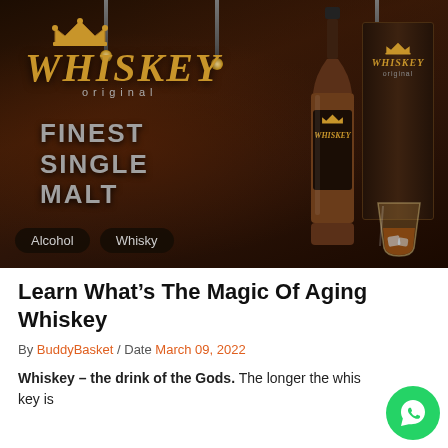[Figure (photo): Whiskey advertisement banner with bottle, box, crown logo, text 'WHISKEY original', 'FINEST SINGLE MALT', and tags 'Alcohol' and 'Whisky' on dark background]
Learn What’s The Magic Of Aging Whiskey
By BuddyBasket / Date March 09, 2022
Whiskey – the drink of the Gods. The longer the whiskey is in the barrel, the richer it becomes.